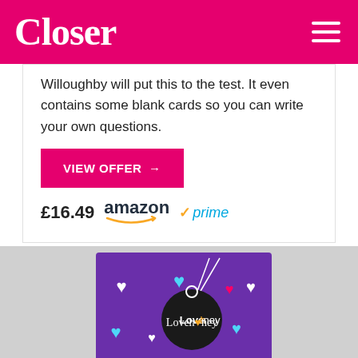Closer
Willoughby will put this to the test. It even contains some blank cards so you can write your own questions.
VIEW OFFER →
£16.49  amazon vprime
[Figure (photo): Lovehoney branded card game product box in purple with heart shapes and a circular black logo tag showing 'Lovehoney' text]